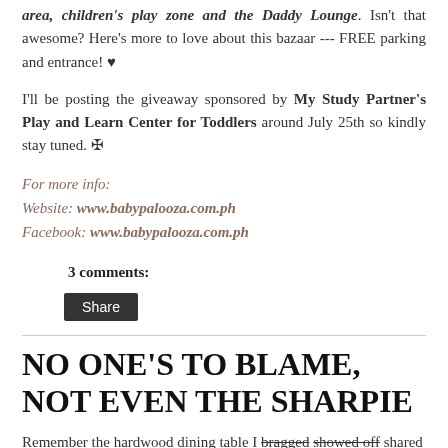area, children's play zone and the Daddy Lounge. Isn't that awesome? Here's more to love about this bazaar --- FREE parking and entrance! ♥
I'll be posting the giveaway sponsored by My Study Partner's Play and Learn Center for Toddlers around July 25th so kindly stay tuned. ✠
For more info:
Website: www.babypalooza.com.ph
Facebook: www.babypalooza.com.ph
3 comments:
Share
NO ONE'S TO BLAME, NOT EVEN THE SHARPIE
Remember the hardwood dining table I bragged showed off shared